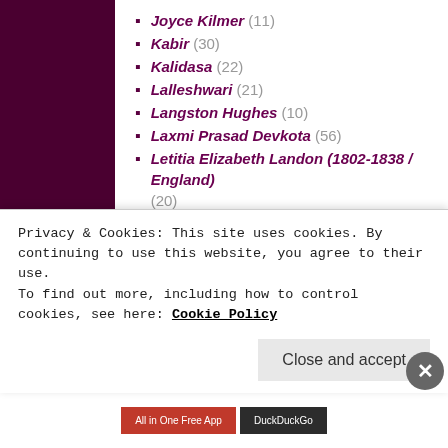Joyce Kilmer (11)
Kabir (30)
Kalidasa (22)
Lalleshwari (21)
Langston Hughes (10)
Laxmi Prasad Devkota (56)
Letitia Elizabeth Landon (1802-1838 / England) (20)
Li Po (20)
Literary Figures (17)
Mahmoud Darwish (16)
Mao Zedong (12)
Maya Angelou (23)
Mewlana Jalaluddin Rumi (13)
Privacy & Cookies: This site uses cookies. By continuing to use this website, you agree to their use. To find out more, including how to control cookies, see here: Cookie Policy